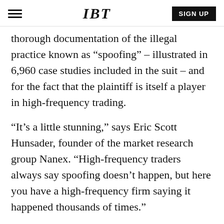IBT | SIGN UP
thorough documentation of the illegal practice known as “spoofing” – illustrated in 6,960 case studies included in the suit – and for the fact that the plaintiff is itself a player in high-frequency trading.
“It’s a little stunning,” says Eric Scott Hunsader, founder of the market research group Nanex. “High-frequency traders always say spoofing doesn’t happen, but here you have a high-frequency firm saying it happened thousands of times.”